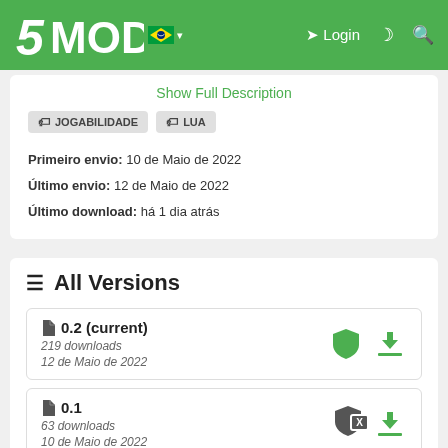5MODS — Login
Show Full Description
JOGABILIDADE
LUA
Primeiro envio: 10 de Maio de 2022
Último envio: 12 de Maio de 2022
Último download: há 1 dia atrás
All Versions
0.2 (current)
219 downloads
12 de Maio de 2022
0.1
63 downloads
10 de Maio de 2022